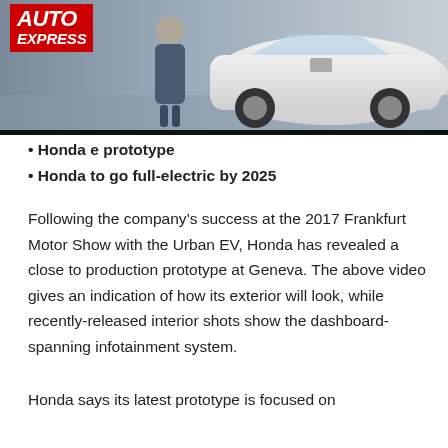[Figure (photo): Auto Express magazine logo overlaid on a photo of a white Honda e prototype car at a motor show, with a person standing beside it]
• Honda e prototype
• Honda to go full-electric by 2025
Following the company's success at the 2017 Frankfurt Motor Show with the Urban EV, Honda has revealed a close to production prototype at Geneva. The above video gives an indication of how its exterior will look, while recently-released interior shots show the dashboard-spanning infotainment system.
Honda says its latest prototype is focused on